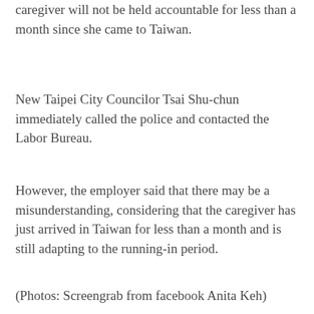caregiver will not be held accountable for less than a month since she came to Taiwan.
New Taipei City Councilor Tsai Shu-chun immediately called the police and contacted the Labor Bureau.
However, the employer said that there may be a misunderstanding, considering that the caregiver has just arrived in Taiwan for less than a month and is still adapting to the running-in period.
(Photos: Screengrab from facebook Anita Keh)